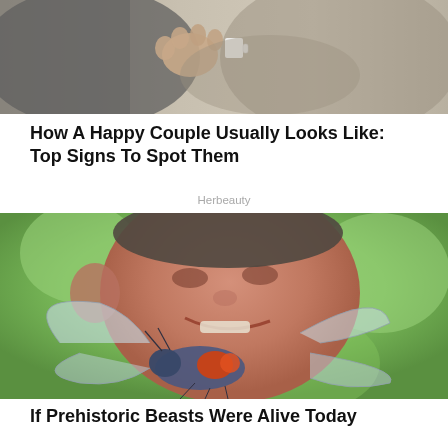[Figure (photo): Photo of a couple, partial view showing a person in a gray sweater holding a white cup, intimate close-up]
How A Happy Couple Usually Looks Like: Top Signs To Spot Them
Herbeauty
[Figure (photo): Close-up photo of a smiling middle-aged man holding a large prehistoric-looking insect (dragonfly/giant insect) with distinctive orange and blue coloring, green bokeh background]
If Prehistoric Beasts Were Alive Today